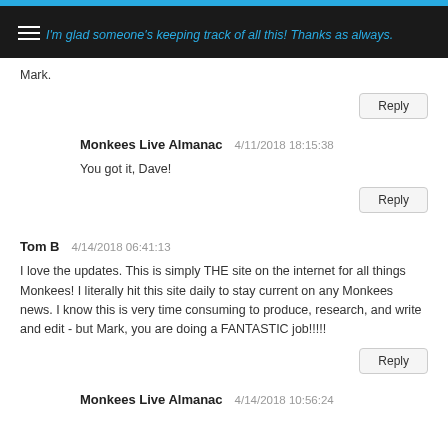I'm glad someone's keeping track of all this! Thanks as always. Mark.
You got it, Dave!
Tom B  4/14/2018 06:41:13

I love the updates. This is simply THE site on the internet for all things Monkees! I literally hit this site daily to stay current on any Monkees news. I know this is very time consuming to produce, research, and write and edit - but Mark, you are doing a FANTASTIC job!!!!!
Monkees Live Almanac  4/14/2018 10:56:24